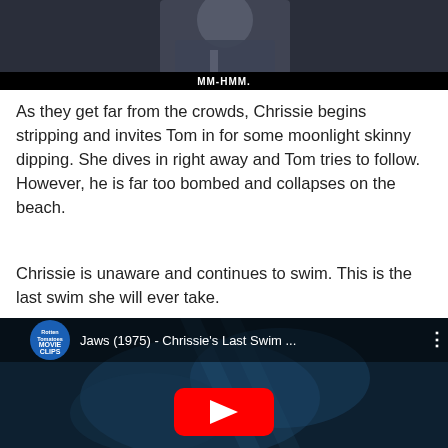[Figure (screenshot): Video screenshot showing a man in a suit with subtitle text 'MM-HMM.' at the bottom center]
As they get far from the crowds, Chrissie begins stripping and invites Tom in for some moonlight skinny dipping. She dives in right away and Tom tries to follow. However, he is far too bombed and collapses on the beach.
Chrissie is unaware and continues to swim. This is the last swim she will ever take.
[Figure (screenshot): YouTube video thumbnail for 'Jaws (1975) - Chrissie's Last Swim ...' from Rotten Tomatoes Movie Clips channel, showing underwater scene with YouTube play button overlay]